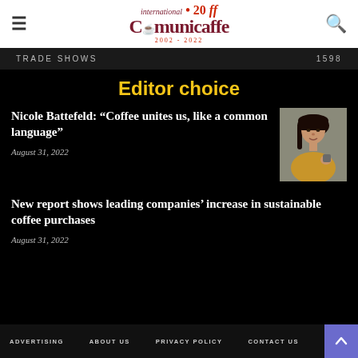International Comunicaffe 20 2002-2022
TRADE SHOWS  1598
Editor choice
Nicole Battefeld: “Coffee unites us, like a common language”
August 31, 2022
[Figure (photo): Portrait photo of Nicole Battefeld, a woman with dark hair wearing a yellow top, holding a coffee cup]
New report shows leading companies’ increase in sustainable coffee purchases
August 31, 2022
ADVERTISING  ABOUT US  PRIVACY POLICY  CONTACT US